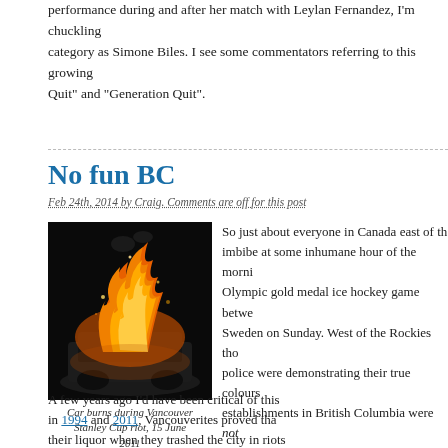performance during and after her match with Leylan Fernandez, I'm chuckling category as Simone Biles. I see some commentators referring to this growing Quit" and "Generation Quit".
No fun BC
Feb 24th, 2014 by Craig. Comments are off for this post
[Figure (photo): Car burns during Vancouver Stanley Cup riot, 15 June 2011 - fire and burning car at night]
Car burns during Vancouver Stanley Cup riot, 15 June 2011
So just about everyone in Canada east of the imbibe at some inhumane hour of the morning Olympic gold medal ice hockey game between Sweden on Sunday. West of the Rockies the police were demonstrating their true colours establishments in British Columbia were not alcohol, even though in other provinces rules for this special occasion.
A few years ago I'd have been critical of this in 1994 and 2011, Vancouverites proved that their liquor when they trashed the city in riots losses of their hockey team in the Stanley Cup finals. Of course, this time winners rioting is not an unheard of phenomenon either, and the infantile p Vancouver had already proven twice they were quite happy to riot at the dr